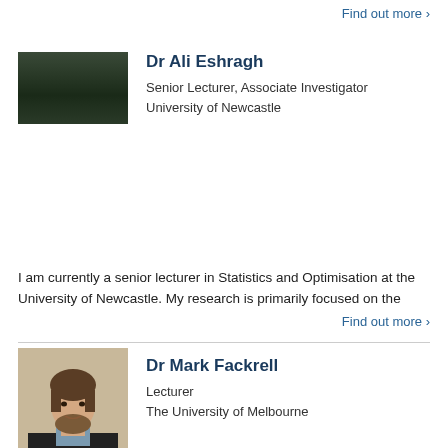Find out more >
[Figure (photo): Partial photo of Dr Ali Eshragh, cropped head shot with dark background]
Dr Ali Eshragh
Senior Lecturer, Associate Investigator
University of Newcastle
I am currently a senior lecturer in Statistics and Optimisation at the University of Newcastle. My research is primarily focused on the
Find out more >
[Figure (photo): Headshot of Dr Mark Fackrell, a man with brown hair and beard wearing a dark sweater]
Dr Mark Fackrell
Lecturer
The University of Melbourne